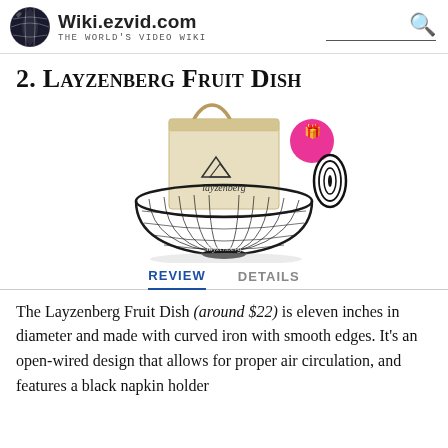Wiki.ezvid.com — The World's Video Wiki
2. Layzenberg Fruit Dish
[Figure (photo): Product photo of the Layzenberg Fruit Dish showing a black wire mesh bowl, a cream-colored gift bag with Layzenberg branding, a small black spiral napkin holder, and a pink gift icon badge.]
REVIEW   DETAILS
The Layzenberg Fruit Dish (around $22) is eleven inches in diameter and made with curved iron with smooth edges. It's an open-wired design that allows for proper air circulation, and features a black napkin holder